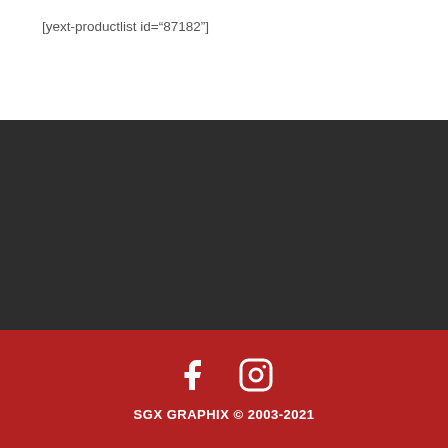[yext-productlist id="87182"]
SGX GRAPHIX © 2003-2021